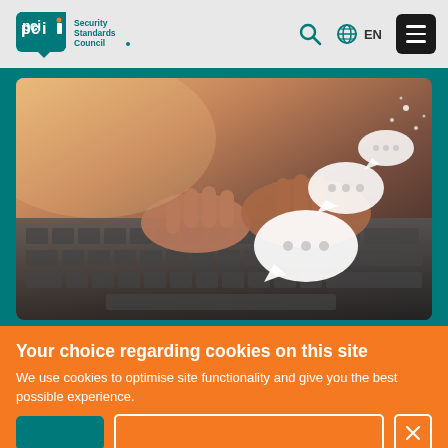PCI Security Standards Council — EN
[Figure (photo): Hands typing on a laptop keyboard with floating chat bubble icons above, suggesting digital communication]
Your choice regarding cookies on this site
We use cookies to optimise site functionality and give you the best possible experience.